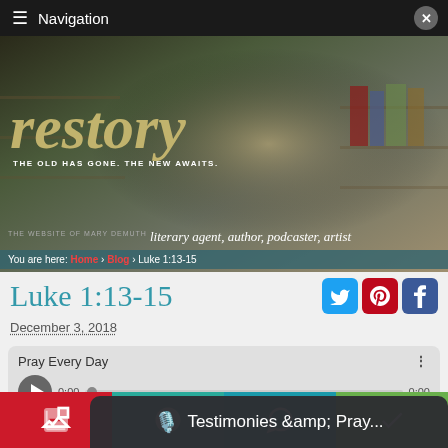Navigation
[Figure (photo): Website header hero image showing a woman in a library with the 'restory' logo and tagline 'THE OLD HAS GONE. THE NEW AWAITS.' overlaid. Also shows Mary DeMuth website branding: 'literary agent, author, podcaster, artist']
You are here: Home > Blog > Luke 1:13-15
Luke 1:13-15
December 3, 2018
Pray Every Day
0:00  0:00
Testimonies &amp; Pray...